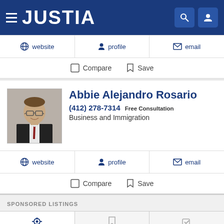JUSTIA
website | profile | email
Compare | Save
Abbie Alejandro Rosario
(412) 278-7314 Free Consultation
Business and Immigration
website | profile | email
Compare | Save
SPONSORED LISTINGS
Recent (0) | Saved (0) | Compare (0/3)